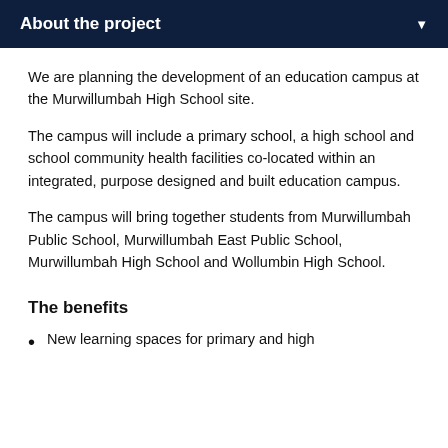About the project
We are planning the development of an education campus at the Murwillumbah High School site.
The campus will include a primary school, a high school and school community health facilities co-located within an integrated, purpose designed and built education campus.
The campus will bring together students from Murwillumbah Public School, Murwillumbah East Public School, Murwillumbah High School and Wollumbin High School.
The benefits
New learning spaces for primary and high